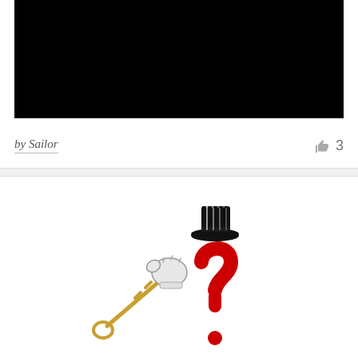[Figure (illustration): Black rectangle image placeholder at top of card]
by Sailor
[Figure (illustration): Cartoon illustration of a gloved hand holding a key and a red question mark character wearing a black top hat]